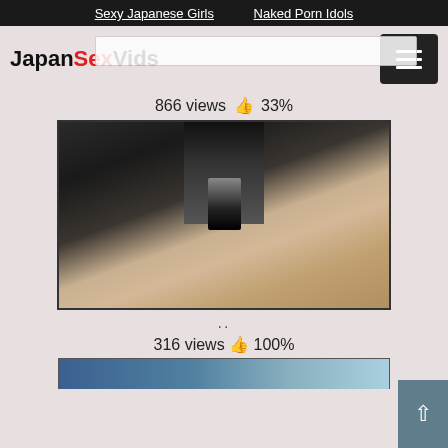Sexy Japanese Girls   Naked Porn Idols
JapanSexVids
866 views 👍 33%
[Figure (photo): Dark video thumbnail showing adult content]
..
316 views 👍 100%
[Figure (photo): Partial video thumbnail at bottom of page]